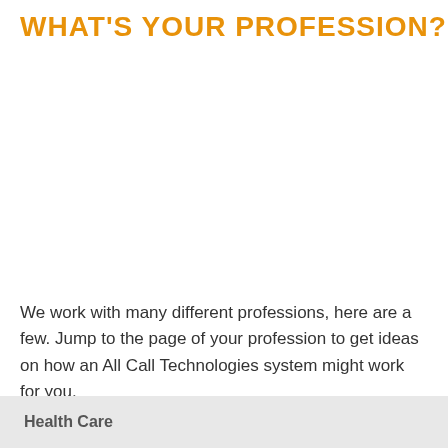WHAT'S YOUR PROFESSION?
We work with many different professions, here are a few. Jump to the page of your profession to get ideas on how an All Call Technologies system might work for you.
Health Care